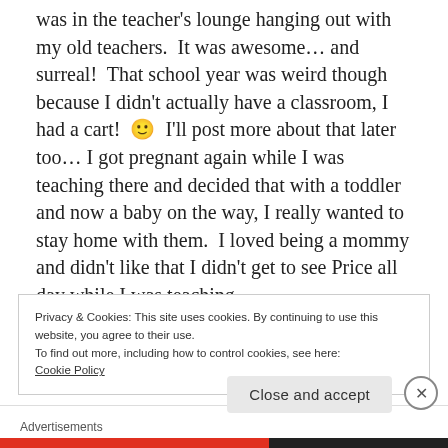was in the teacher's lounge hanging out with my old teachers.  It was awesome… and surreal!  That school year was weird though because I didn't actually have a classroom, I had a cart!  🙂  I'll post more about that later too… I got pregnant again while I was teaching there and decided that with a toddler and now a baby on the way, I really wanted to stay home with them.  I loved being a mommy and didn't like that I didn't get to see Price all day while I was teaching.
Privacy & Cookies: This site uses cookies. By continuing to use this website, you agree to their use.
To find out more, including how to control cookies, see here:
Cookie Policy
Close and accept
Advertisements